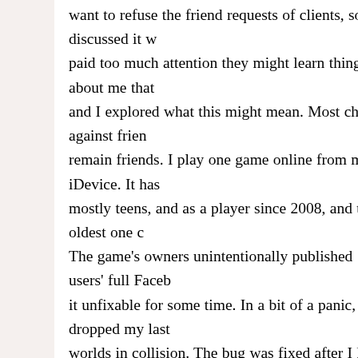want to refuse the friend requests of clients, so I discussed it with paid too much attention they might learn things about me that and I explored what this might mean. Most chose against frien remain friends. I play one game online from my iDevice. It has mostly teens, and as a player since 2008, and the oldest one c The game's owners unintentionally published users' full Faceb it unfixable for some time. In a bit of a panic, I dropped my last worlds in collision. The bug was fixed after I had over 30 teen t same time, important people in my field began to request conn back, and was told I wasn't supposed to use an alias and that changes. I finally got it restored by posting my wedding photos my husband.This led me to begin an autobiographical photo al family photos I had scanned. As Facebook began to smush pe boundaries for their own purposes, I found I was far more expo possible. Everyone saw every move I made. What to do now? in the Digital Age. I had long since joined it in every other way. were a part of my life. If I had any secrets they were no longer the result was excellent: My personal and professional lives we never have planned nor expected. I posted a status message s